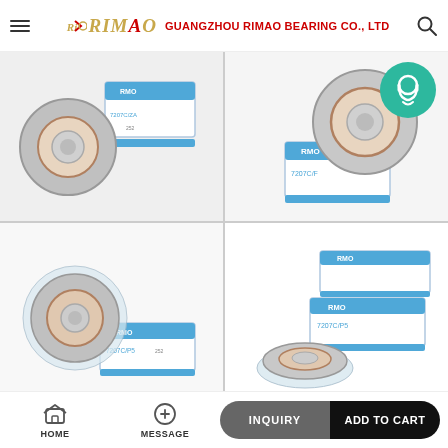GUANGZHOU RIMAO BEARING CO., LTD
[Figure (photo): Four product photos of RMO angular contact ball bearings (model 7207C/P5) showing the bearing and blue-white branded packaging boxes. Top-left: bearing with box labeled RMO 7207C/ZA. Top-right: bearing with box labeled RMO 7207C/F with green customer service icon overlay. Bottom-left: bearing in plastic packaging with box labeled RMO 7207C/P5. Bottom-right: bearing in plastic packaging with two stacked boxes labeled RMO 7207C/P5.]
HOME   MESSAGE   INQUIRY   ADD TO CART